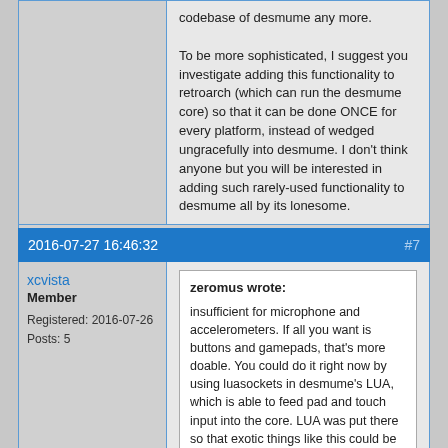codebase of desmume any more.

To be more sophisticated, I suggest you investigate adding this functionality to retroarch (which can run the desmume core) so that it can be done ONCE for every platform, instead of wedged ungracefully into desmume. I don't think anyone but you will be interested in adding such rarely-used functionality to desmume all by its lonesome.
Offline
2016-07-27 16:46:32   #7
xcvista
Member
Registered: 2016-07-26
Posts: 5
zeromus wrote:
insufficient for microphone and accelerometers. If all you want is buttons and gamepads, that's more doable. You could do it right now by using luasockets in desmume's LUA, which is able to feed pad and touch input into the core. LUA was put there so that exotic things like this could be done without having to touch the codebase of desmume any more.

To be more sophisticated, I suggest you investigate adding